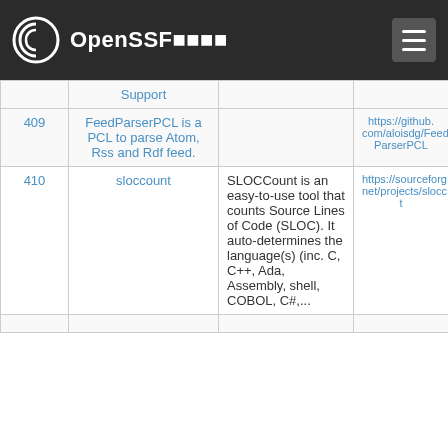OpenSSF (logo)
| # | Name | Description | URL |
| --- | --- | --- | --- |
|  | Support |  |  |
| 409 | FeedParserPCL is a PCL to parse Atom, Rss and Rdf feed. |  | https://github.com/aloisdg/FeedParserPCL |
| 410 | sloccount | SLOCCount is an easy-to-use tool that counts Source Lines of Code (SLOC). It auto-determines the language(s) (inc. C, C++, Ada, Assembly, shell, COBOL, C#,... | https://sourceforge.net/projects/sloccount |
|  |  |  |  |